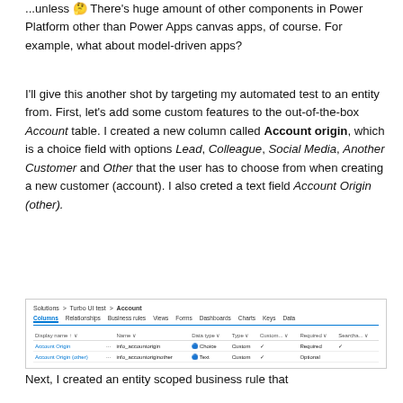...unless 🤔 There's huge amount of other components in Power Platform other than Power Apps canvas apps, of course. For example, what about model-driven apps?
I'll give this another shot by targeting my automated test to an entity from. First, let's add some custom features to the out-of-the-box Account table. I created a new column called Account origin, which is a choice field with options Lead, Colleague, Social Media, Another Customer and Other that the user has to choose from when creating a new customer (account). I also creted a text field Account Origin (other).
[Figure (screenshot): Screenshot of a Power Platform / Dataverse table editor showing Solutions > Turbo UI test > Account with tabs: Columns, Relationships, Business rules, Views, Forms, Dashboards, Charts, Keys, Data. The columns table shows two rows: Account Origin (choice, custom, Required) and Account Origin (other) (text, custom, Optional).]
Next, I created an entity scoped business rule that